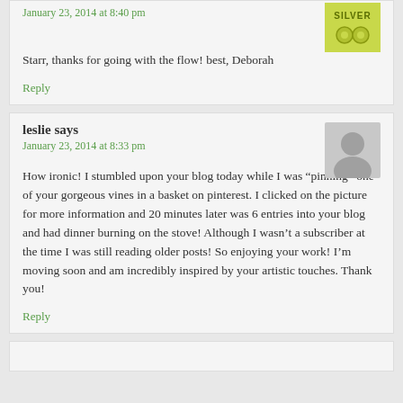January 23, 2014 at 8:40 pm
[Figure (illustration): Silver badge/award image with green background]
Starr, thanks for going with the flow! best, Deborah
Reply
leslie says
January 23, 2014 at 8:33 pm
[Figure (photo): Default grey avatar silhouette placeholder image]
How ironic! I stumbled upon your blog today while I was “pinning” one of your gorgeous vines in a basket on pinterest. I clicked on the picture for more information and 20 minutes later was 6 entries into your blog and had dinner burning on the stove! Although I wasn’t a subscriber at the time I was still reading older posts! So enjoying your work! I’m moving soon and am incredibly inspired by your artistic touches. Thank you!
Reply